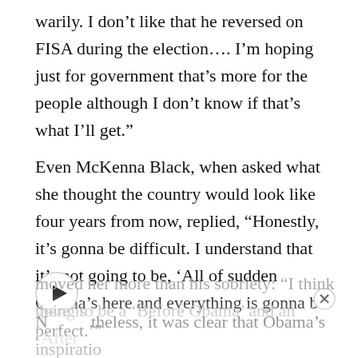warily. I don’t like that he reversed on FISA during the election…. I’m hoping just for government that’s more for the people although I don’t know if that’s what I’ll get.”
Even McKenna Black, when asked what she thought the country would look like four years from now, replied, “Honestly, it’s gonna be difficult. I understand that it’s not going to be, ‘All of sudden Obama’s here and everything is gonna be perfect.’”
Nevertheless, it was clear that Obama’s inspiration moved her more than his sobriety: “I think there is going to be a ‘Before Obama’ and an ‘After